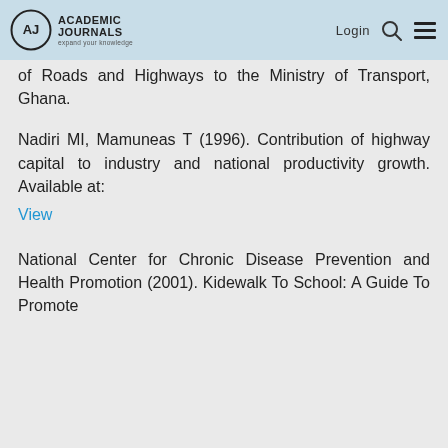Academic Journals — Login
of Roads and Highways to the Ministry of Transport, Ghana.
Nadiri MI, Mamuneas T (1996). Contribution of highway capital to industry and national productivity growth. Available at:
View
National Center for Chronic Disease Prevention and Health Promotion (2001). Kidewalk To School: A Guide To Promote